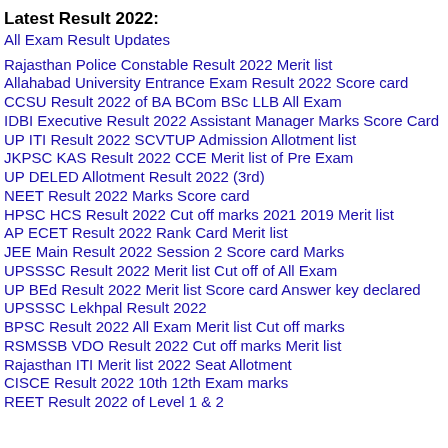Latest Result 2022:
All Exam Result Updates
Rajasthan Police Constable Result 2022 Merit list
Allahabad University Entrance Exam Result 2022 Score card
CCSU Result 2022 of BA BCom BSc LLB All Exam
IDBI Executive Result 2022 Assistant Manager Marks Score Card
UP ITI Result 2022 SCVTUP Admission Allotment list
JKPSC KAS Result 2022 CCE Merit list of Pre Exam
UP DELED Allotment Result 2022 (3rd)
NEET Result 2022 Marks Score card
HPSC HCS Result 2022 Cut off marks 2021 2019 Merit list
AP ECET Result 2022 Rank Card Merit list
JEE Main Result 2022 Session 2 Score card Marks
UPSSSC Result 2022 Merit list Cut off of All Exam
UP BEd Result 2022 Merit list Score card Answer key declared
UPSSSC Lekhpal Result 2022
BPSC Result 2022 All Exam Merit list Cut off marks
RSMSSB VDO Result 2022 Cut off marks Merit list
Rajasthan ITI Merit list 2022 Seat Allotment
CISCE Result 2022 10th 12th Exam marks
REET Result 2022 of Level 1 & 2